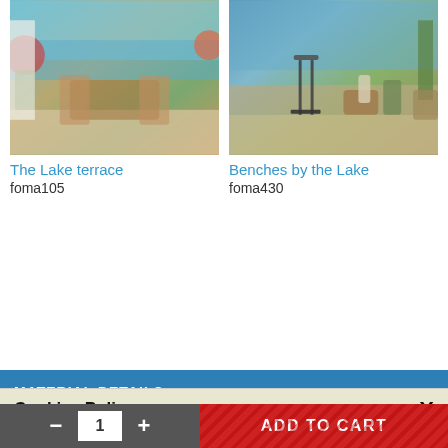[Figure (photo): Product image: The Lake terrace - outdoor terrace with wooden furniture, flowers, and lake view]
The Lake terrace
foma105
[Figure (photo): Product image: Benches by the Lake - industrial bar stool and wooden side tables on a deck with lake view]
Benches by the Lake
foma430
MATERIAL DETAILS
Cookies Policy

We use our own cookies and third party cookies in order to provide you a better user experience and service. If you continue to browse and use this website you are agreeing to the use of these cookies. More information about our Cookies Policy